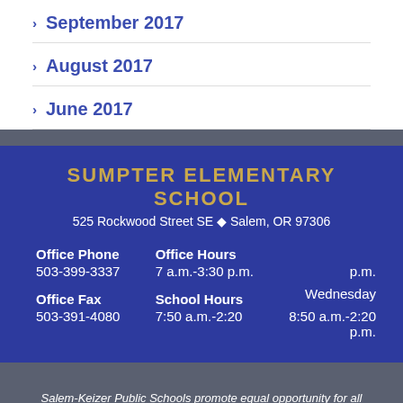September 2017
August 2017
June 2017
SUMPTER ELEMENTARY SCHOOL
525 Rockwood Street SE ♦ Salem, OR 97306
|  |  |  |
| --- | --- | --- |
| Office Phone | Office Hours | p.m. |
| 503-399-3337 | 7 a.m.-3:30 p.m. | Wednesday |
|  |  | 8:50 a.m.-2:20 p.m. |
| Office Fax | School Hours |  |
| 503-391-4080 | 7:50 a.m.-2:20 |  |
Salem-Keizer Public Schools promote equal opportunity for all individuals without regard to age, color, disability, marital